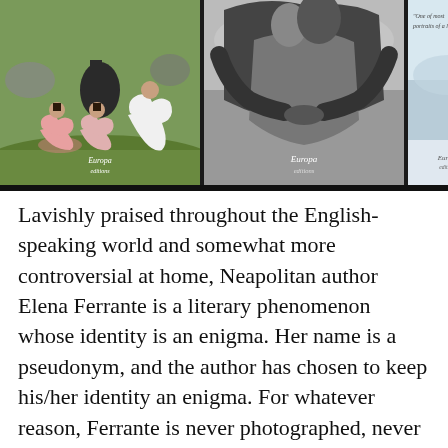[Figure (photo): Three book covers by Elena Ferrante published by Europa Editions. Left: two girls in pink dresses walking away through a field, color image. Center: black-and-white image of two figures embracing from behind. Right: partial cover with a quote and light blue/grey imagery.]
Lavishly praised throughout the English-speaking world and somewhat more controversial at home, Neapolitan author Elena Ferrante is a literary phenomenon whose identity is an enigma. Her name is a pseudonym, and the author has chosen to keep his/her identity an enigma. For whatever reason, Ferrante is never photographed, never interviewed in person, but solely and occasionally by email.